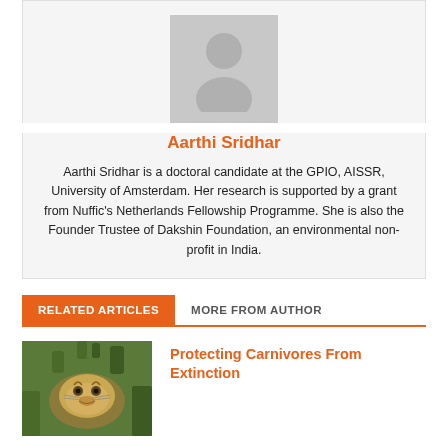[Figure (illustration): Generic user avatar placeholder silhouette on gray background]
Aarthi Sridhar
Aarthi Sridhar is a doctoral candidate at the GPIO, AISSR, University of Amsterdam. Her research is supported by a grant from Nuffic's Netherlands Fellowship Programme. She is also the Founder Trustee of Dakshin Foundation, an environmental non-profit in India.
RELATED ARTICLES
MORE FROM AUTHOR
[Figure (photo): Photo of a wild cat (lynx or similar carnivore) in green foliage]
Protecting Carnivores From Extinction